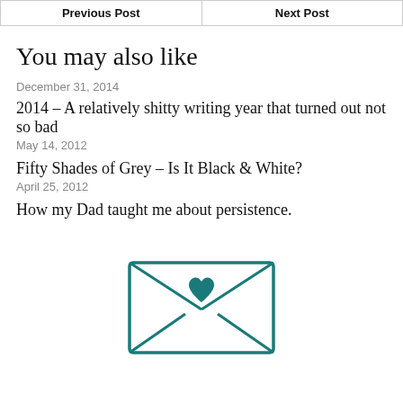| Previous Post | Next Post |
| --- | --- |
You may also like
December 31, 2014
2014 – A relatively shitty writing year that turned out not so bad
May 14, 2012
Fifty Shades of Grey – Is It Black & White?
April 25, 2012
How my Dad taught me about persistence.
[Figure (illustration): Hand-drawn illustration of an envelope with a teal/dark cyan heart in the center and diagonal lines crossing the envelope flap, drawn in teal/dark cyan color.]